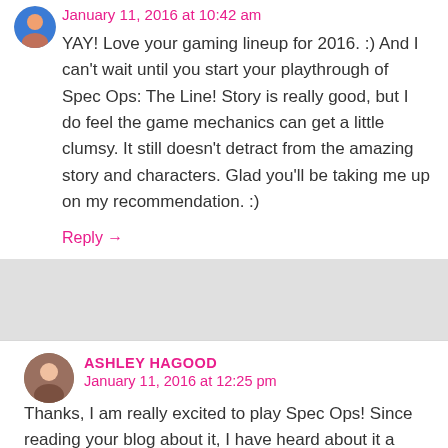January 11, 2016 at 10:42 am
YAY! Love your gaming lineup for 2016. :) And I can't wait until you start your playthrough of Spec Ops: The Line! Story is really good, but I do feel the game mechanics can get a little clumsy. It still doesn't detract from the amazing story and characters. Glad you'll be taking me up on my recommendation. :)
Reply →
ASHLEY HAGOOD
January 11, 2016 at 12:25 pm
Thanks, I am really excited to play Spec Ops! Since reading your blog about it, I have heard about it a couple other times and how